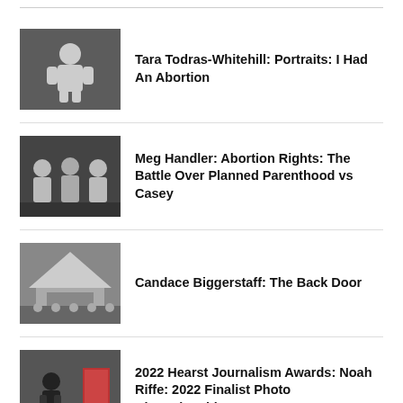Tara Todras-Whitehill: Portraits: I Had An Abortion
Meg Handler: Abortion Rights: The Battle Over Planned Parenthood vs Casey
Candace Biggerstaff: The Back Door
2022 Hearst Journalism Awards: Noah Riffe: 2022 Finalist Photo Championship
2022 Hearst Journalism Awards: Jack Weaver: 2022 Finalist Photo Championship